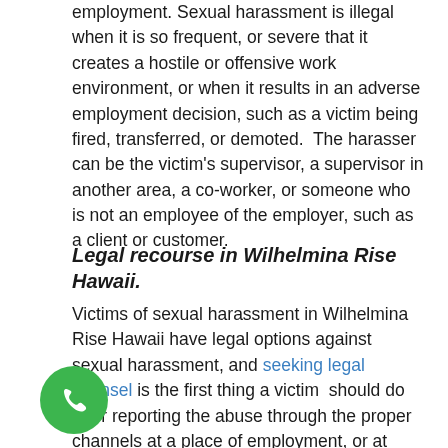employment. Sexual harassment is illegal when it is so frequent, or severe that it creates a hostile or offensive work environment, or when it results in an adverse employment decision, such as a victim being fired, transferred, or demoted.  The harasser can be the victim's supervisor, a supervisor in another area, a co-worker, or someone who is not an employee of the employer, such as a client or customer.
Legal recourse in Wilhelmina Rise Hawaii.
Victims of sexual harassment in Wilhelmina Rise Hawaii have legal options against sexual harassment, and seeking legal counsel is the first thing a victim  should do after reporting the abuse through the proper channels at a place of employment, or at school, or wherever the incident took place; if there are procedural guidelines set that must be followed.
[Figure (other): Green circular phone/call button icon in the bottom left corner]